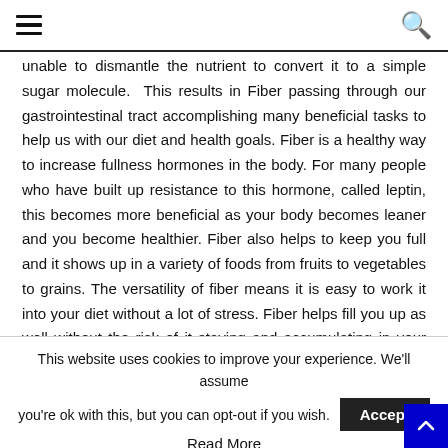≡  🔍
unable to dismantle the nutrient to convert it to a simple sugar molecule. This results in Fiber passing through our gastrointestinal tract accomplishing many beneficial tasks to help us with our diet and health goals. Fiber is a healthy way to increase fullness hormones in the body. For many people who have built up resistance to this hormone, called leptin, this becomes more beneficial as your body becomes leaner and you become healthier. Fiber also helps to keep you full and it shows up in a variety of foods from fruits to vegetables to grains. The versatility of fiber means it is easy to work it into your diet without a lot of stress. Fiber helps fill you up as well without the risk of it staying and accumulating in your body to be processed
This website uses cookies to improve your experience. We'll assume you're ok with this, but you can opt-out if you wish.
Accept
Read More